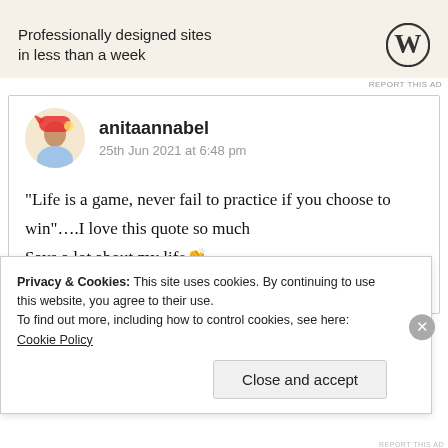[Figure (screenshot): WordPress advertisement banner: 'Professionally designed sites in less than a week' with WordPress logo]
REPORT THIS AD
anitaannabel
25th Jun 2021 at 6:48 pm
“Life is a game, never fail to practice if you choose to win”….I love this quote so much
Says a lot about my life👏
★ Liked by 3 people
Privacy & Cookies: This site uses cookies. By continuing to use this website, you agree to their use.
To find out more, including how to control cookies, see here: Cookie Policy
Close and accept